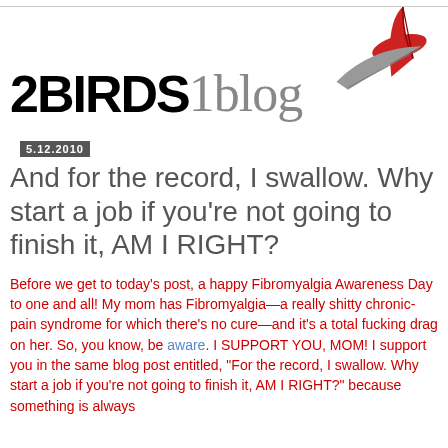[Figure (logo): 2Birds1blog logo with red and grey feathers and tagline 'the champagne of blogs']
5.12.2010
And for the record, I swallow. Why start a job if you're not going to finish it, AM I RIGHT?
Before we get to today's post, a happy Fibromyalgia Awareness Day to one and all! My mom has Fibromyalgia—a really shitty chronic-pain syndrome for which there's no cure—and it's a total fucking drag on her. So, you know, be aware. I SUPPORT YOU, MOM! I support you in the same blog post entitled, "For the record, I swallow. Why start a job if you're not going to finish it, AM I RIGHT?" because something is always...